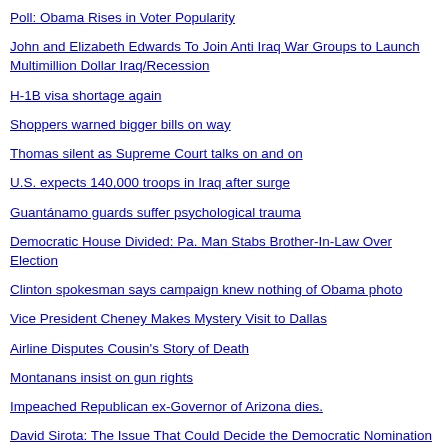Poll: Obama Rises in Voter Popularity
John and Elizabeth Edwards To Join Anti Iraq War Groups to Launch Multimillion Dollar Iraq/Recession
H-1B visa shortage again
Shoppers warned bigger bills on way
Thomas silent as Supreme Court talks on and on
U.S. expects 140,000 troops in Iraq after surge
Guantánamo guards suffer psychological trauma
Democratic House Divided: Pa. Man Stabs Brother-In-Law Over Election
Clinton spokesman says campaign knew nothing of Obama photo
Vice President Cheney Makes Mystery Visit to Dallas
Airline Disputes Cousin's Story of Death
Montanans insist on gun rights
Impeached Republican ex-Governor of Arizona dies.
David Sirota: The Issue That Could Decide the Democratic Nomination and the General Election
Some Thoughts on the Logic of Talking Heads